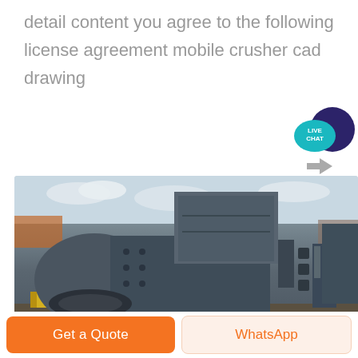detail content you agree to the following license agreement mobile crusher cad drawing
[Figure (illustration): Live Chat widget with teal speech bubble and dark navy circle in background]
[Figure (photo): Large industrial mobile crusher machine photographed outdoors, grey metal body with mechanical components, yellow safety fence visible, overcast sky in background]
Get a Quote
WhatsApp